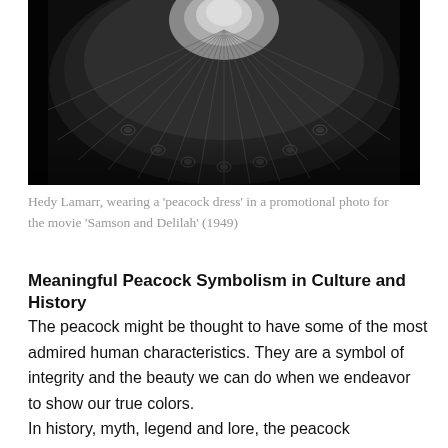[Figure (photo): Black and white photograph of Hedy Lamarr wearing a large fan-shaped peacock dress, photographed from above showing the full spread of the costume.]
Hedy Lamarr, wearing a 'peacock dress' in a promotional photo for the movie 'Samson and Delilah' (1949)
Meaningful Peacock Symbolism in Culture and History
The peacock might be thought to have some of the most admired human characteristics. They are a symbol of integrity and the beauty we can do when we endeavor to show our true colors.
In history, myth, legend and lore, the peacock symbolism